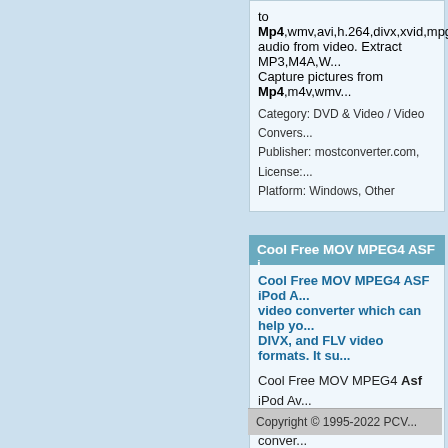to Mp4,wmv,avi,h.264,divx,xvid,mpg... audio from video. Extract MP3,M4A,W... Capture pictures from Mp4,m4v,wmv...
Category: DVD & Video / Video Convers... Publisher: mostconverter.com, License:... Platform: Windows, Other
Cool Free MOV MPEG4 ASF i...
Cool Free MOV MPEG4 ASF iPod A... video converter which can help yo... DIVX, and FLV video formats. It su...
Cool Free MOV MPEG4 Asf iPod Av... converter which can help you conver... and FLV video formats. It supports c... SVCD, DVD, iPod, FLV, SWF and M...
Category: Audio / Rippers & Encoders Publisher: Cool converter software, Lice... Platform: Windows
Copyright © 1995-2022 PCV...